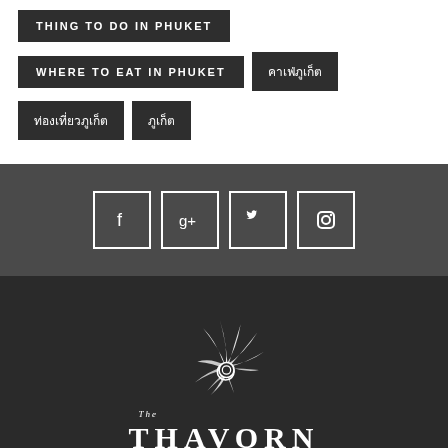THING TO DO IN PHUKET
WHERE TO EAT IN PHUKET
คาเฟ่ภูเก็ต
ท่องเที่ยวภูเก็ต
ภูเก็ต
[Figure (infographic): Social media icons: Facebook, Google+, Twitter, Instagram in square outline boxes on dark grey background]
[Figure (logo): The Thavorn Palm Beach Resort logo: white stylized palm/wave graphic above text reading THE THAVORN PALM BEACH RESORT on dark background]